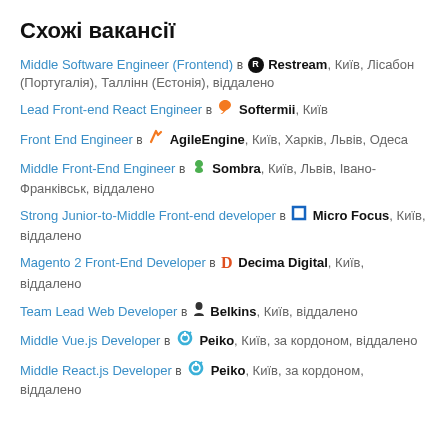Схожі вакансії
Middle Software Engineer (Frontend) в Restream, Київ, Лісабон (Португалія), Таллінн (Естонія), віддалено
Lead Front-end React Engineer в Softermii, Київ
Front End Engineer в AgileEngine, Київ, Харків, Львів, Одеса
Middle Front-End Engineer в Sombra, Київ, Львів, Івано-Франківськ, віддалено
Strong Junior-to-Middle Front-end developer в Micro Focus, Київ, віддалено
Magento 2 Front-End Developer в Decima Digital, Київ, віддалено
Team Lead Web Developer в Belkins, Київ, віддалено
Middle Vue.js Developer в Peiko, Київ, за кордоном, віддалено
Middle React.js Developer в Peiko, Київ, за кордоном, віддалено